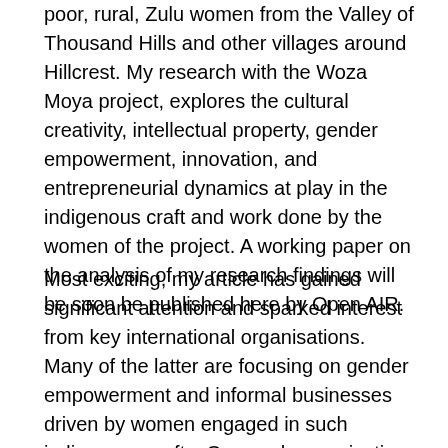poor, rural, Zulu women from the Valley of Thousand Hills and other villages around Hillcrest. My research with the Woza Moya project, explores the cultural creativity, intellectual property, gender empowerment, innovation, and entrepreneurial dynamics at play in the indigenous craft and work done by the women of the project. A working paper on the analysis of my research findings will be soon be published here by Open AIR.
Most exciting, my article has gained significant attention and sparked interest from key international organisations. Many of the latter are focusing on gender empowerment and informal businesses driven by women engaged in such indigenous crafts. One such organisation – Business Destination Magazine – has now published a report where they interviewed me about my research project for their Autumn 2019 issue. Seeing and knowing that my research is making a difference is an amazing experience and I am